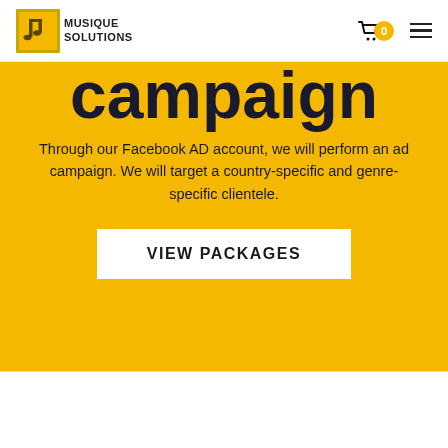MUSIQUE SOLUTIONS
campaign
Through our Facebook AD account, we will perform an ad campaign. We will target a country-specific and genre-specific clientele.
VIEW PACKAGES